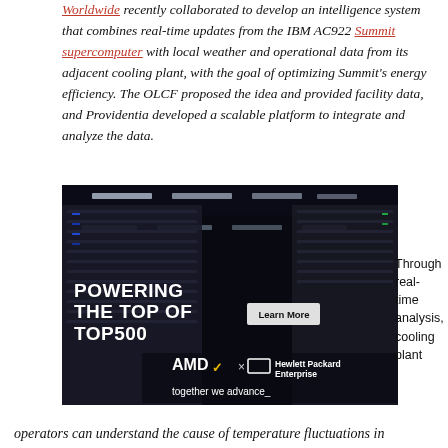Worldwide recently collaborated to develop an intelligence system that combines real-time updates from the IBM AC922 Summit supercomputer with local weather and operational data from its adjacent cooling plant, with the goal of optimizing Summit's energy efficiency. The OLCF proposed the idea and provided facility data, and Providentia developed a scalable platform to integrate and analyze the data.
[Figure (photo): Dark server room advertisement: AMD x Hewlett Packard Enterprise - 'POWERING THE TOP OF TOP500' with a 'Learn More' button and tagline 'together we advance_']
Through real-time analysis, cooling plant
operators can understand the cause of temperature fluctuations in